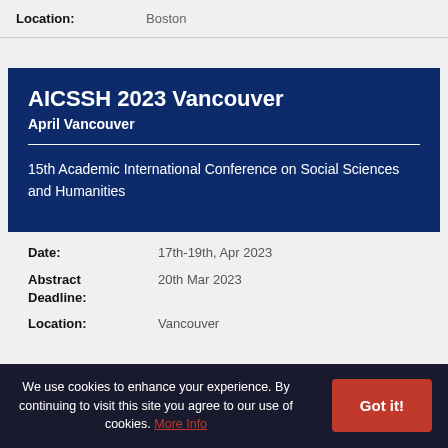| Field | Value |
| --- | --- |
| Location: | Boston |
AICSSH 2023 Vancouver
April Vancouver
15th Academic International Conference on Social Sciences and Humanities
| Field | Value |
| --- | --- |
| Date: | 17th-19th, Apr 2023 |
| Abstract Deadline: | 20th Mar 2023 |
| Location: | Vancouver |
We use cookies to enhance your experience. By continuing to visit this site you agree to our use of cookies. More Info